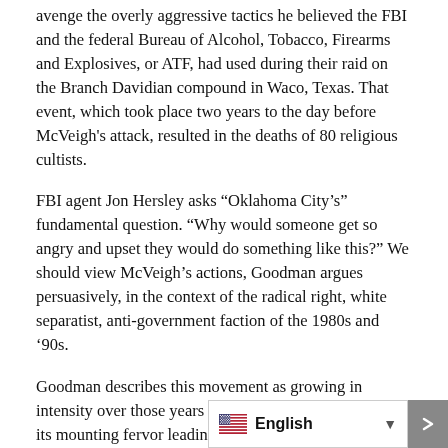avenge the overly aggressive tactics he believed the FBI and the federal Bureau of Alcohol, Tobacco, Firearms and Explosives, or ATF, had used during their raid on the Branch Davidian compound in Waco, Texas. That event, which took place two years to the day before McVeigh's attack, resulted in the deaths of 80 religious cultists.
FBI agent Jon Hersley asks “Oklahoma City’s” fundamental question. “Why would someone get so angry and upset they would do something like this?” We should view McVeigh’s actions, Goodman argues persuasively, in the context of the radical right, white separatist, anti-government faction of the 1980s and ’90s.
Goodman describes this movement as growing in intensity over those years from spark to flame to inferno, its mounting fervor leading ineluctably to McVeigh’s bombing.
Along with Waco, what happened to white separatist Randy Weaver and his family at Ruby Ridge, Idaho, in 1992 also sparked McVeigh’s action. W…